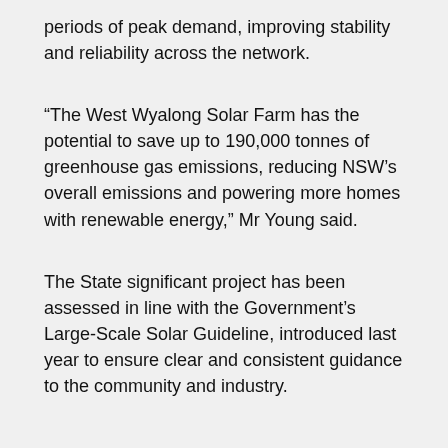periods of peak demand, improving stability and reliability across the network.
“The West Wyalong Solar Farm has the potential to save up to 190,000 tonnes of greenhouse gas emissions, reducing NSW’s overall emissions and powering more homes with renewable energy,” Mr Young said.
The State significant project has been assessed in line with the Government’s Large-Scale Solar Guideline, introduced last year to ensure clear and consistent guidance to the community and industry.